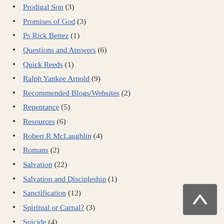Prodigal Son (3)
Promises of God (3)
Ps Rick Bettez (1)
Questions and Answers (6)
Quick Reeds (1)
Ralph Yankee Arnold (9)
Recommended Blogs/Websites (2)
Repentance (5)
Resources (6)
Robert R McLaughlin (4)
Romans (2)
Salvation (22)
Salvation and Discipleship (1)
Sanctification (12)
Spiritual or Carnal? (3)
Suicide (4)
Teaching the Word Ministries (1)
Testimonies (8)
The Christian Life (14)
The Gospel (8)
The Lauman's Seminary (1)